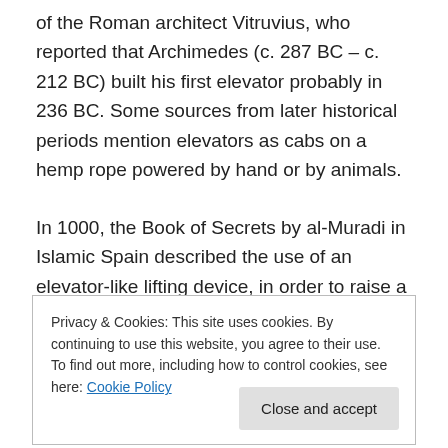of the Roman architect Vitruvius, who reported that Archimedes (c. 287 BC – c. 212 BC) built his first elevator probably in 236 BC. Some sources from later historical periods mention elevators as cabs on a hemp rope powered by hand or by animals.
In 1000, the Book of Secrets by al-Muradi in Islamic Spain described the use of an elevator-like lifting device, in order to raise a large battering ram to destroy a fortress. In the 17th century the prototypes of elevators were located in the palace buildings of England and France. Louis XV of
Privacy & Cookies: This site uses cookies. By continuing to use this website, you agree to their use.
To find out more, including how to control cookies, see here: Cookie Policy
the screw drive was perhaps the most important step in